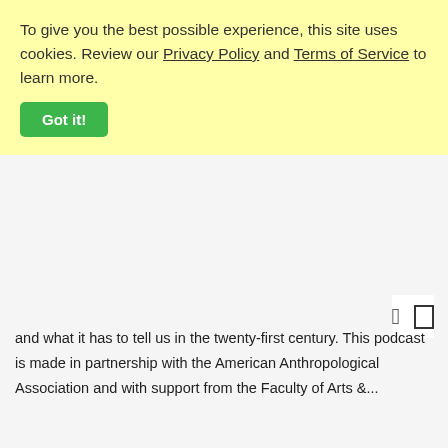To give you the best possible experience, this site uses cookies. Review our Privacy Policy and Terms of Service to learn more.
Got it!
and what it has to tell us in the twenty-first century. This podcast is made in partnership with the American Anthropological Association and with support from the Faculty of Arts &...
[Figure (illustration): Blue square image with text 'Learn Japanese | JapaneseP']
Learn Japanese with Free Podcasts Whether you are student or a seasoned speaker, our lessons offer something for everyone. We incorporate culture and current issues into each episode to give the most informative, both linguistically and culturally,